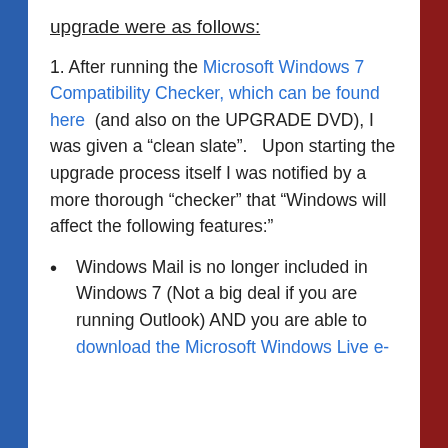upgrade were as follows:
1. After running the Microsoft Windows 7 Compatibility Checker, which can be found here (and also on the UPGRADE DVD), I was given a “clean slate”.   Upon starting the upgrade process itself I was notified by a more thorough “checker” that “Windows will affect the following features:”
Windows Mail is no longer included in Windows 7 (Not a big deal if you are running Outlook) AND you are able to download the Microsoft Windows Live e-